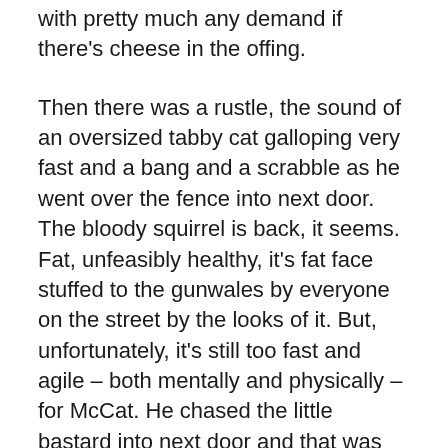with pretty much any demand if there's cheese in the offing.
Then there was a rustle, the sound of an oversized tabby cat galloping very fast and a bang and a scrabble as he went over the fence into next door. The bloody squirrel is back, it seems. Fat, unfeasibly healthy, it's fat face stuffed to the gunwales by everyone on the street by the looks of it. But, unfortunately, it's still too fast and agile – both mentally and physically – for McCat. He chased the little bastard into next door and that was the last we saw of him.
We called and called but he didn't come in. McMini was distraught as was I. McOther who dislikes McCat, was ambivalent. I had a think about the trajectory and reckoned he'd gone over the wall into next door and,